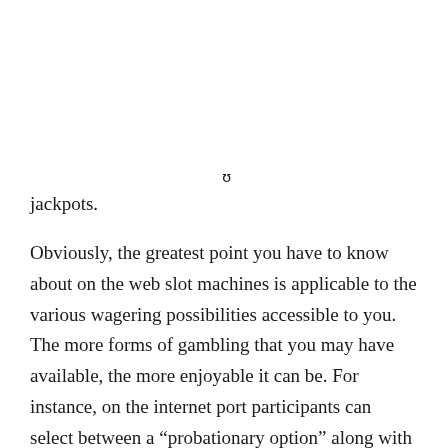ʊ
jackpots.
Obviously, the greatest point you have to know about on the web slot machines is applicable to the various wagering possibilities accessible to you. The more forms of gambling that you may have available, the more enjoyable it can be. For instance, on the internet port participants can select between a “probationary option” along with a “no-put in” option.